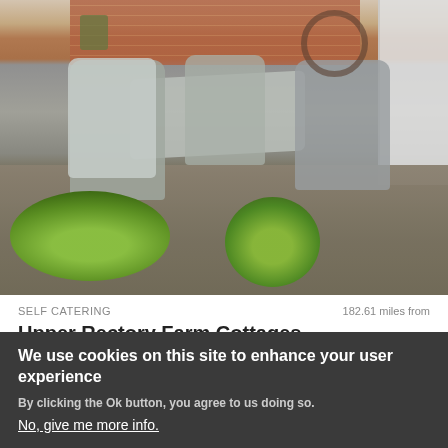[Figure (photo): Outdoor patio area with grey wicker furniture including table and chairs, a blanket draped over a chair, brick wall in background, large wheel decoration, white door on right, and green plants/shrubs in foreground on stone paving]
SELF CATERING    182.61 miles from
Upper Rectory Farm Cottages
"Superbly converted barns in rolling cornfields with pretty courtyards and gorgeous views" - VisitEngland Assessor
We use cookies on this site to enhance your user experience
By clicking the Ok button, you agree to us doing so.
No, give me more info.